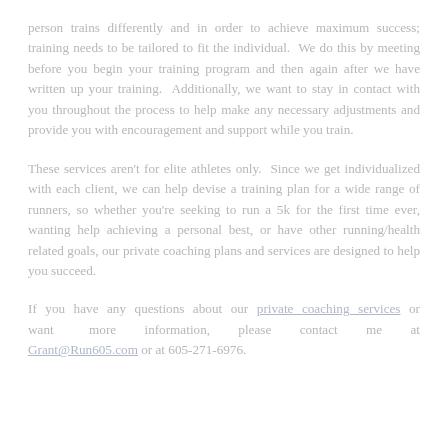person trains differently and in order to achieve maximum success; training needs to be tailored to fit the individual. We do this by meeting before you begin your training program and then again after we have written up your training. Additionally, we want to stay in contact with you throughout the process to help make any necessary adjustments and provide you with encouragement and support while you train.
These services aren't for elite athletes only. Since we get individualized with each client, we can help devise a training plan for a wide range of runners, so whether you're seeking to run a 5k for the first time ever, wanting help achieving a personal best, or have other running/health related goals, our private coaching plans and services are designed to help you succeed.
If you have any questions about our private coaching services or want more information, please contact me at Grant@Run605.com or at 605-271-6976.